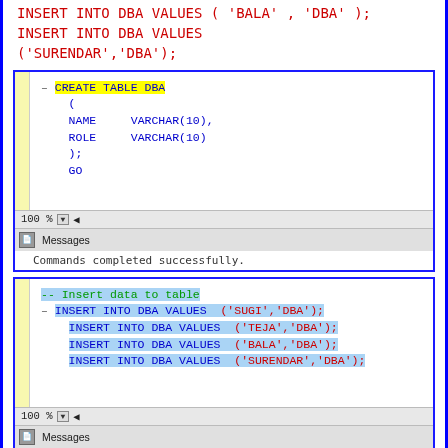INSERT INTO DBA VALUES ( 'BALA' , 'DBA' );
INSERT INTO DBA VALUES
('SURENDAR','DBA');
[Figure (screenshot): SQL Server Management Studio query editor showing CREATE TABLE DBA statement with columns NAME and ROLE VARCHAR(10), and Messages pane showing 'Commands completed successfully.']
[Figure (screenshot): SQL Server Management Studio query editor showing INSERT INTO DBA VALUES statements for SUGI, TEJA, BALA, SURENDAR, and Messages pane showing '(1 row affected)']